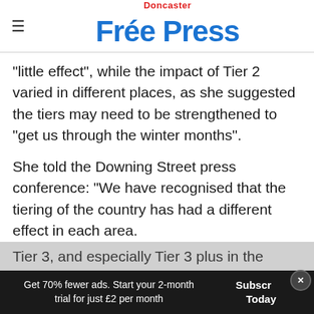Doncaster Free Press
“little effect”, while the impact of Tier 2 varied in different places, as she suggested the tiers may need to be strengthened to “get us through the winter months”.
She told the Downing Street press conference: “We have recognised that the tiering of the country has had a different effect in each area. Tier 3, and especially Tier 3 plus in the North, has had an effect in reducing the numbers of
Get 70% fewer ads. Start your 2-month trial for just £2 per month | Subscribe Today